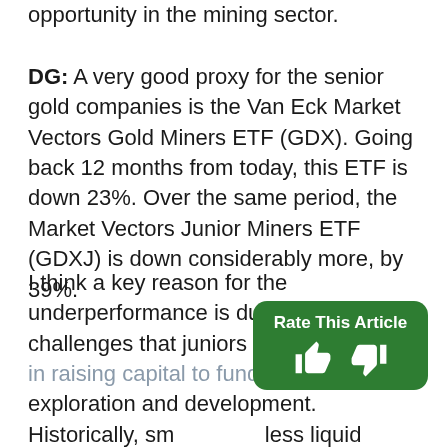opportunity in the mining sector.
DG: A very good proxy for the senior gold companies is the Van Eck Market Vectors Gold Miners ETF (GDX). Going back 12 months from today, this ETF is down 23%. Over the same period, the Market Vectors Junior Miners ETF (GDXJ) is down considerably more, by 39%.
I think a key reason for the underperformance is due to the recent challenges that juniors have had to face in raising capital to fund continuing exploration and development. Historically, smaller and less liquid mining companies are hardest hit in a risk-averse, "risk-off" market. The junior